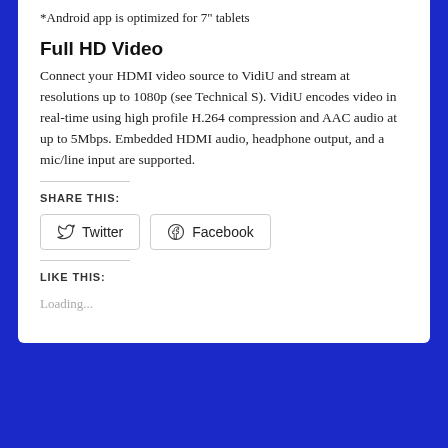*Android app is optimized for 7" tablets
Full HD Video
Connect your HDMI video source to VidiU and stream at resolutions up to 1080p (see Technical S). VidiU encodes video in real-time using high profile H.264 compression and AAC audio at up to 5Mbps. Embedded HDMI audio, headphone output, and a mic/line input are supported.
SHARE THIS:
[Figure (other): Twitter and Facebook share buttons]
LIKE THIS:
Loading...